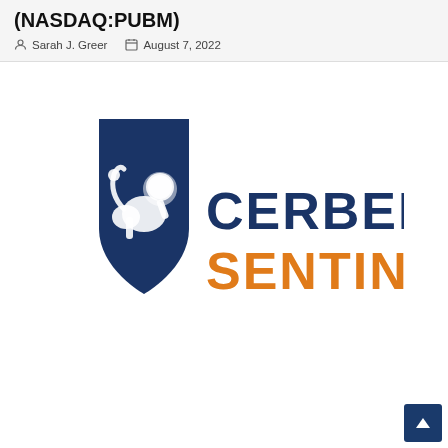(NASDAQ:PUBM)
Sarah J. Greer   August 7, 2022
[Figure (logo): Cerberus Sentinel logo featuring a dark navy blue shield with a white lion rampant, and bold text reading CERBERUS in dark navy and SENTINEL in orange.]